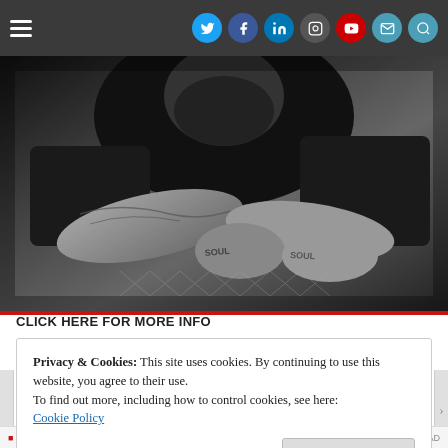Navigation bar with hamburger menu and social icons (Twitter, Facebook, LinkedIn, Instagram, YouTube, Mail, Search)
[Figure (photo): Black and white photograph of a man with tattooed arms and hands resting on his knees, head bowed. Tattoos visible on hands spell letters. Gritty, documentary-style image.]
CLICK HERE FOR MORE INFO
Privacy & Cookies: This site uses cookies. By continuing to use this website, you agree to their use.
To find out more, including how to control cookies, see here:
Cookie Policy
Close and accept